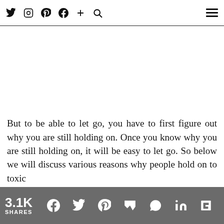Twitter Instagram Pinterest Facebook + Search [hamburger menu]
But to be able to let go, you have to first figure out why you are still holding on. Once you know why you are still holding on, it will be easy to let go. So below we will discuss various reasons why people hold on to toxic
3.1K SHARES [Facebook] [Twitter] [Pinterest] [Mix] [WhatsApp] [LinkedIn] [Flipboard]